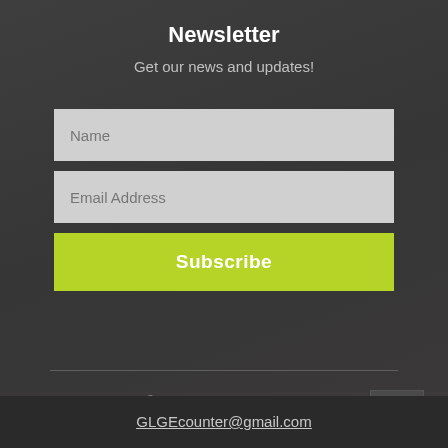Newsletter
Get our news and updates!
[Figure (other): Name input field (text box with light gray background)]
[Figure (other): Email Address input field (text box with light gray background)]
[Figure (other): Subscribe button (green/yellow-green background with white bold text)]
©2019 by Great Lakes Gear Exchange. Proudly created with Wix.com
GLGEcounter@gmail.com